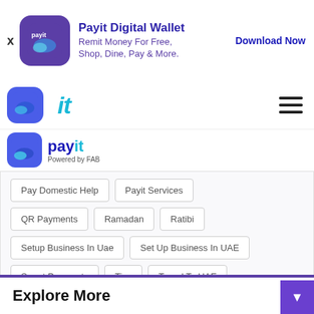[Figure (logo): Payit Digital Wallet ad banner with logo, title, subtitle and Download Now link]
[Figure (logo): Payit navigation bar with app icon, italic 'it' text, and hamburger menu]
[Figure (logo): Payit logo - Powered by FAB]
Pay Domestic Help
Payit Services
QR Payments
Ramadan
Ratibi
Setup Business In Uae
Set Up Business In UAE
Smart Payments
Tips
Travel To UAE
Using Payit E-Wallet
Visiting UAE
Explore More